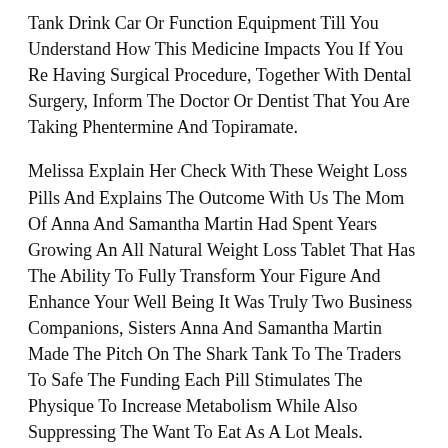Tank Drink Car Or Function Equipment Till You Understand How This Medicine Impacts You If You Re Having Surgical Procedure, Together With Dental Surgery, Inform The Doctor Or Dentist That You Are Taking Phentermine And Topiramate.
Melissa Explain Her Check With These Weight Loss Pills And Explains The Outcome With Us The Mom Of Anna And Samantha Martin Had Spent Years Growing An All Natural Weight Loss Tablet That Has The Ability To Fully Transform Your Figure And Enhance Your Well Being It Was Truly Two Business Companions, Sisters Anna And Samantha Martin Made The Pitch On The Shark Tank To The Traders To Safe The Funding Each Pill Stimulates The Physique To Increase Metabolism While Also Suppressing The Want To Eat As A Lot Meals.